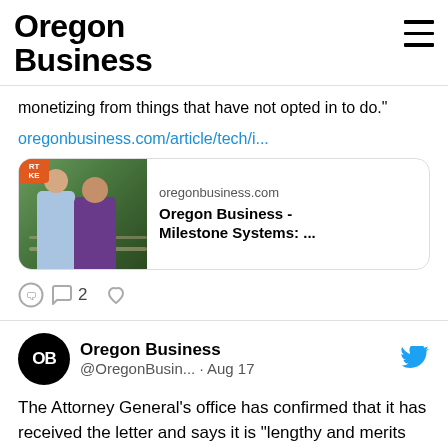Oregon Business
monetizing from things that have not opted in to do."
oregonbusiness.com/article/tech/i...
[Figure (screenshot): Link preview card with photo of two men outdoors, showing oregonbusiness.com domain and title 'Oregon Business - Milestone Systems: ...']
2
Oregon Business @OregonBusin... · Aug 17
The Attorney General's office has confirmed that it has received the letter and says it is "lengthy and merits review by a few different sections at the DOJ."